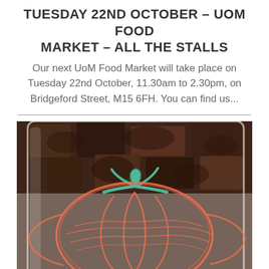TUESDAY 22ND OCTOBER – UOM FOOD MARKET – ALL THE STALLS
Our next UoM Food Market will take place on Tuesday 22nd October, 11.30am to 2.30pm, on Bridgeford Street, M15 6FH. You can find us...
[Figure (photo): A glass jar containing chocolate brownies, decorated on the front with a hand-drawn pumpkin design in orange and green marker.]